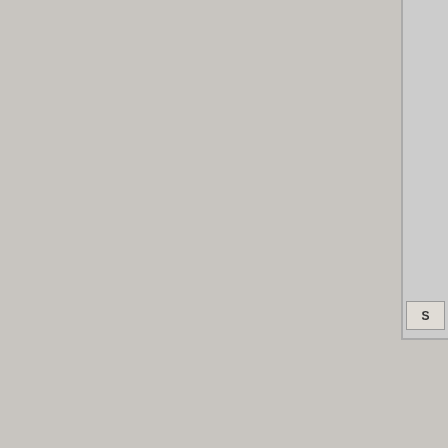[Figure (screenshot): Partial screenshot of a software UI panel visible in the top-right corner of the page, showing a narrow vertical panel with a button labeled 'S' at the bottom.]
Performance Testing
Some programs exist purely to test your computer's performance. Some of them even have you competing against other users online. These programs are called "benchmarks" or "stress tests," and they measure your system's performance under controlled conditions so you can tell if something was a success or a failure, and in what way. Before we get into making any adjustments to various settings or upgrading hardware, measuring current performance by itself would constitute a change to our results. Before testing our system, let's take a look at our tools.
Although it's not a benchmark, we'll start with GPU-Z (Figure 4-2) because of its ability to display information about your GPU in real-time of time. It is also commonly us ShadowPlay feature, no some